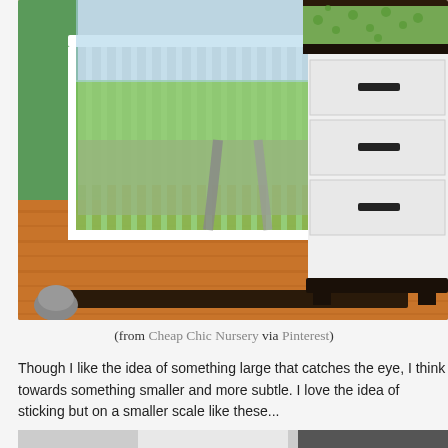[Figure (photo): Nursery room photo showing a white baby crib with green and gray bedding on a hardwood floor, next to a white dresser/changing table with dark handles and a green polka-dot changing pad on top.]
(from Cheap Chic Nursery via Pinterest)
Though I like the idea of something large that catches the eye, I think towards something smaller and more subtle. I love the idea of sticking but on a smaller scale like these...